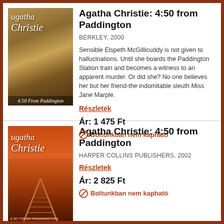[Figure (illustration): Book cover for Agatha Christie 4:50 from Paddington, Berkley 2000 edition, dark brownish-orange tones with two figures on a platform]
Agatha Christie: 4:50 from Paddington
BERKLEY, 2000
Sensible Elspeth McGillicuddy is not given to hallucinations. Until she boards the Paddington Station train and becomes a witness to an apparent murder. Or did she? No one believes her but her friend-the indomitable sleuth Miss Jane Marple.
Részletek
Ár: 1 475 Ft
Boltunkban nem kapható
[Figure (illustration): Book cover for Agatha Christie 4:50 from Paddington, Harper Collins 2002 edition, orange/red tones with railway tracks perspective]
Agatha Christie: 4:50 from Paddington
HARPER COLLINS PUBLISHERS, 2002
Részletek
Ár: 2 825 Ft
Boltunkban nem kapható